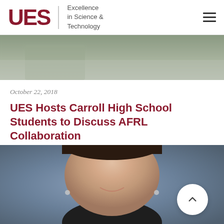UES | Excellence in Science & Technology
[Figure (photo): Partial photo showing people seated in a room, cropped at top of page]
October 22, 2018
UES Hosts Carroll High School Students to Discuss AFRL Collaboration
[Figure (photo): Close-up portrait photo of a smiling woman with short dark hair wearing a black blazer and silver earrings, with a back-to-top chevron button overlay]